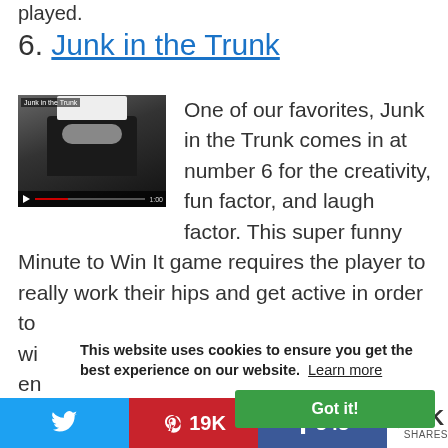played.
6. Junk in the Trunk
[Figure (photo): Video thumbnail showing person wearing black pants with objects strapped around their waist — screenshot from Junk in the Trunk Minute to Win It game video]
One of our favorites, Junk in the Trunk comes in at number 6 for the creativity, fun factor, and laugh factor. This super funny Minute to Win It game requires the player to really work their hips and get active in order to wi en 60 co
This website uses cookies to ensure you get the best experience on our website. Learn more
Got it!
Twitter share | Pinterest 19K | Facebook 545 | 20K SHARES